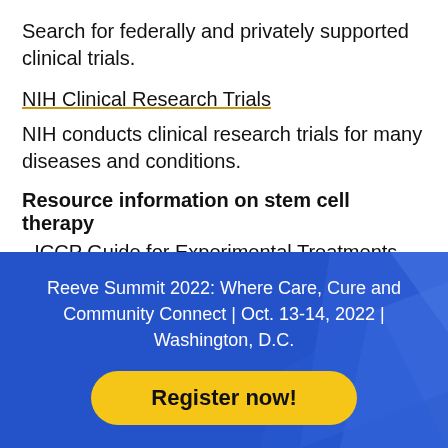Search for federally and privately supported clinical trials.
NIH Clinical Research Trials
NIH conducts clinical research trials for many diseases and conditions.
Resource information on stem cell therapy
- ICCP Guide for Experimental Treatments for Spinal Cord Injury
[Figure (infographic): Blue promotional banner for Reeve Summit 2022 with decorative geometric shapes, event details, and a Register now! button]
Reeve Summit 2022: Where Care, Cure and Community Connect | Oct. 13-14, 2022 | Washington, D.C.
Register now!